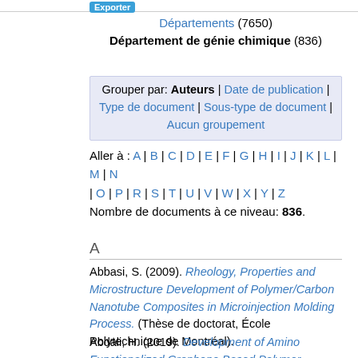Exporter
Départements (7650)
Département de génie chimique (836)
Grouper par: Auteurs | Date de publication | Type de document | Sous-type de document | Aucun groupement
Aller à : A | B | C | D | E | F | G | H | I | J | K | L | M | N | O | P | R | S | T | U | V | W | X | Y | Z
Nombre de documents à ce niveau: 836.
A
Abbasi, S. (2009). Rheology, Properties and Microstructure Development of Polymer/Carbon Nanotube Composites in Microinjection Molding Process. (Thèse de doctorat, École Polytechnique de Montréal).
Abdali, H. (2019). Development of Amino Functionalized Graphene Based Polymer Nanofibers